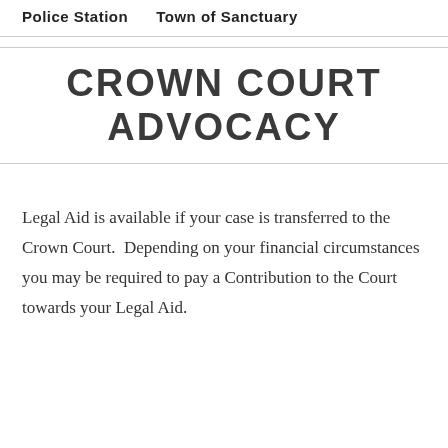Police Station    Town of Sanctuary
CROWN COURT ADVOCACY
Legal Aid is available if your case is transferred to the Crown Court.  Depending on your financial circumstances you may be required to pay a Contribution to the Court towards your Legal Aid.